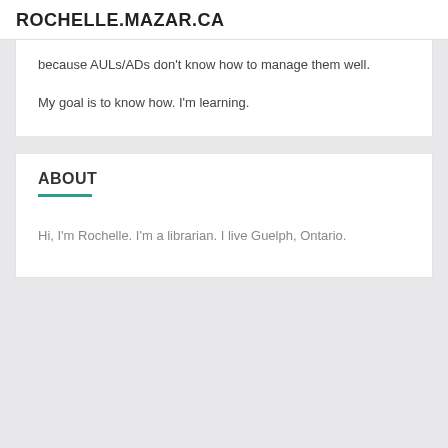ROCHELLE.MAZAR.CA
because AULs/ADs don't know how to manage them well.

My goal is to know how. I'm learning.
ABOUT
Hi, I'm Rochelle. I'm a librarian. I live Guelph, Ontario.